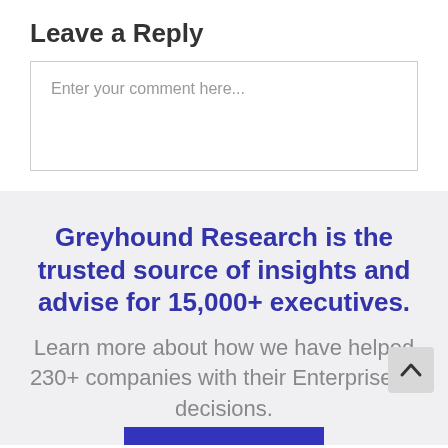Leave a Reply
Enter your comment here...
Greyhound Research is the trusted source of insights and advise for 15,000+ executives.
Learn more about how we have helped 230+ companies with their Enterprise IT decisions.